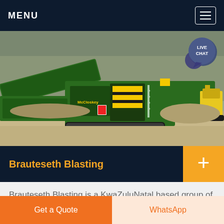MENU
[Figure (photo): Large green mobile crushing/screening machine on a quarry site with gravel and rock piles in the background. Yellow excavator visible at far right.]
Brauteseth Blasting
Brauteseth Blasting is a KwaZuluNatal based group of companies that offer a drilling and blasting service to the mining, quarrying and